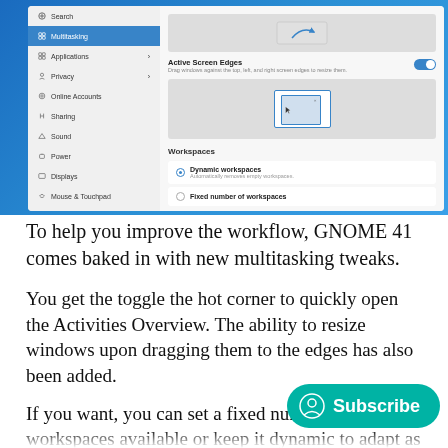[Figure (screenshot): GNOME 41 Settings screenshot showing Multitasking panel selected in sidebar, with Active Screen Edges toggle enabled, a window preview illustration, Workspaces section with Dynamic workspaces and Fixed number of workspaces options.]
To help you improve the workflow, GNOME 41 comes baked in with new multitasking tweaks.
You get the toggle the hot corner to quickly open the Activities Overview. The ability to resize windows upon dragging them to the edges has also been added.
If you want, you can set a fixed number of workspaces available or keep it dynamic to adapt as